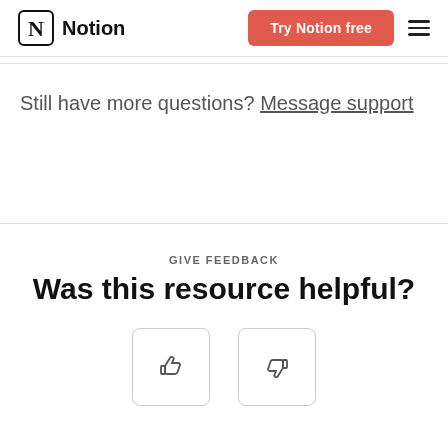Notion — Try Notion free
Still have more questions? Message support
GIVE FEEDBACK
Was this resource helpful?
[Figure (other): Two feedback buttons (thumbs up and thumbs down) in rounded rectangle outlines]